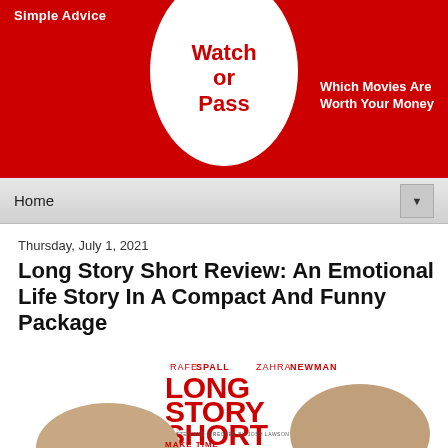[Figure (logo): Watch or Pass website header banner with red background, white oval logo containing 'Watch or Pass' text in red, tagline 'Simple Advice' on left and 'Which Movies Are Worth Your Money' on right in white]
Home
Thursday, July 1, 2021
Long Story Short Review: An Emotional Life Story In A Compact And Funny Package
[Figure (photo): Movie poster for 'Long Story Short' featuring actors Rafe Spall and Zahra Newman. Large red text reads 'LONG STORY SHORT' with tagline 'MAKE TIME'. Written and directed by Josh Lawson.]